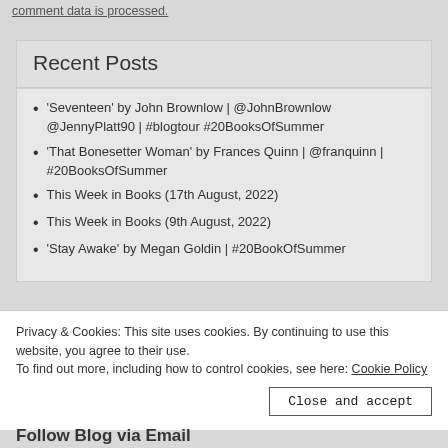comment data is processed.
Recent Posts
'Seventeen' by John Brownlow | @JohnBrownlow @JennyPlatt90 | #blogtour #20BooksOfSummer
'That Bonesetter Woman' by Frances Quinn | @franquinn | #20BooksOfSummer
This Week in Books (17th August, 2022)
This Week in Books (9th August, 2022)
'Stay Awake' by Megan Goldin | #20BookOfSummer
Privacy & Cookies: This site uses cookies. By continuing to use this website, you agree to their use. To find out more, including how to control cookies, see here: Cookie Policy
Close and accept
Follow Blog via Email